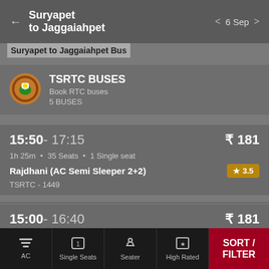← Suryapet to Jaggaiahpet   < 6 Sep >
Suryapet to Jaggaiahpet Bus
TSRTC BUSES
Book RTC buses
5 BUSES
15:50 - 17:15   ₹ 181
1h 25m • 35 Seats • 1 Single seat
Rajdhani (AC Semi Sleeper 2+2)   ★ 3.5
TSRTC - 1449
15:00 - 16:40   ₹ 181
1h 40m • 35 Seats • 1 Single seat
AC   Single Seats   Seater   High Rated   SORT / FILTER